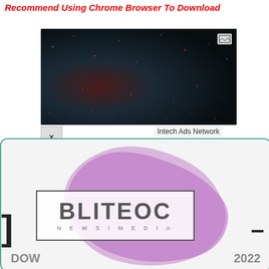Recommend Using Chrome Browser To Download
[Figure (photo): Dark space/universe image with red and white scattered light points, wide banner format]
x
Intech Ads Network
[Figure (logo): BLITEOC News/Media logo with purple paint brush stroke behind text in a bordered box]
DOW
2022